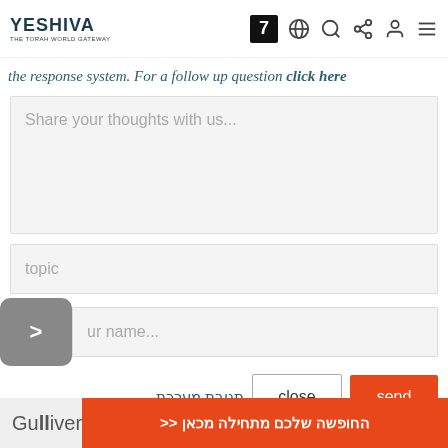YESHIVA
the response system. For a follow up question click here
Share your thoughts with us...
topic
ur name...
תגובת מערכת
close
send
This site is protected by reCAPTCHA and the Google Privacy Policy and Terms of Service apply.
Gulliver
החופשה שלכם מתחילה מכאן <<